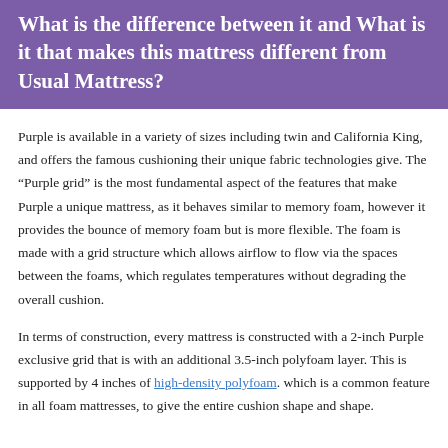What is the difference between it and What is it that makes this mattress different from Usual Mattress?
Purple is available in a variety of sizes including twin and California King, and offers the famous cushioning their unique fabric technologies give. The “Purple grid” is the most fundamental aspect of the features that make Purple a unique mattress, as it behaves similar to memory foam, however it provides the bounce of memory foam but is more flexible. The foam is made with a grid structure which allows airflow to flow via the spaces between the foams, which regulates temperatures without degrading the overall cushion.
In terms of construction, every mattress is constructed with a 2-inch Purple exclusive grid that is with an additional 3.5-inch polyfoam layer. This is supported by 4 inches of high-density polyfoam. which is a common feature in all foam mattresses, to give the entire cushion shape and shape.